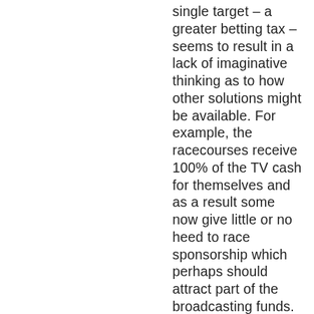single target – a greater betting tax – seems to result in a lack of imaginative thinking as to how other solutions might be available. For example, the racecourses receive 100% of the TV cash for themselves and as a result some now give little or no heed to race sponsorship which perhaps should attract part of the broadcasting funds. What we have now is the ultimate zero-sum game. Off the point,